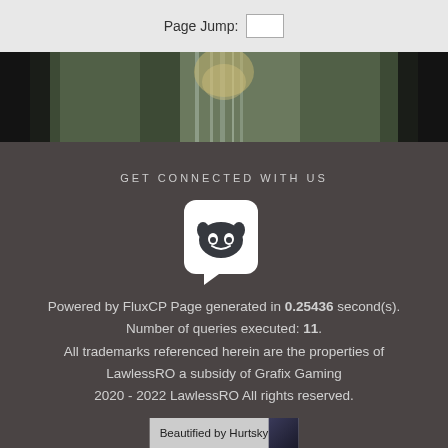Page Jump:
[Figure (photo): Waterfall or forest nature photo with dark edges and greenish tones]
GET CONNECTED WITH US
[Figure (logo): Discord logo icon in white on rounded square background]
Powered by FluxCP Page generated in 0.25436 second(s). Number of queries executed: 11. All trademarks referenced herein are the properties of LawlessRO a subsidy of Grafix Gaming 2020 - 2022 LawlessRO All rights reserved.
Beautified by Hurtsky